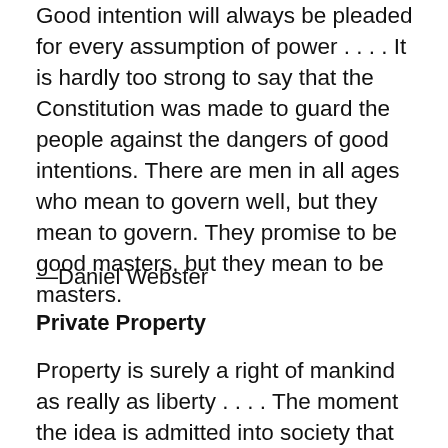Good intention will always be pleaded for every assumption of power . . . . It is hardly too strong to say that the Constitution was made to guard the people against the dangers of good intentions. There are men in all ages who mean to govern well, but they mean to govern. They promise to be good masters, but they mean to be masters.
—Daniel Webster
Private Property
Property is surely a right of mankind as really as liberty . . . . The moment the idea is admitted into society that property is not as sacred as the laws of God, and that there is not a force of law and